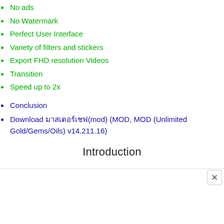No ads
No Watermark
Perfect User Interface
Variety of filters and stickers
Export FHD resolution Videos
Transition
Speed up to 2x
Conclusion
Download มาสเตอร์เชฟ(mod) (MOD, MOD (Unlimited Gold/Gems/Oils) v14.211.16)
Introduction